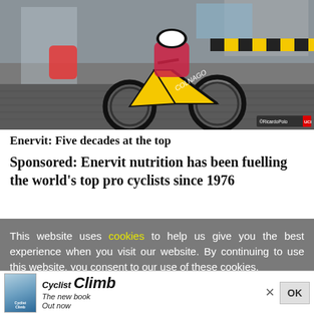[Figure (photo): Cycling race photo showing professional cyclists on cobblestones, prominent yellow and black Colmago/UAE team bike in foreground, riders in colorful kits, arch structure visible in background. Watermark in bottom right corner.]
Enervit: Five decades at the top
Sponsored: Enervit nutrition has been fuelling the world’s top pro cyclists since 1976
This website uses cookies to help us give you the best experience when you visit our website. By continuing to use this website, you consent to our use of these cookies.
[Figure (illustration): Advertisement banner for 'Cyclist Climb' book. Shows book cover image on left, 'Cyclist Climb' branding in large bold/italic text, tagline 'The new book Out now' on right. Close X button and OK button on far right.]